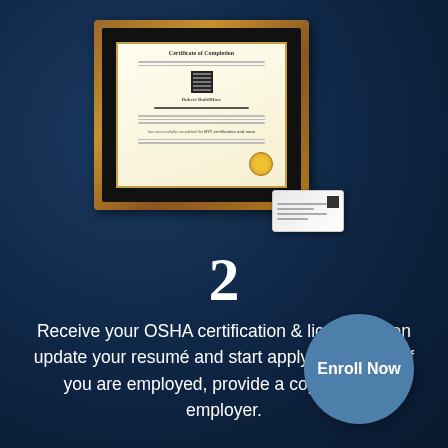[Figure (illustration): A framed Certificate of Completion with a golden seal and QR code, displayed in a brown wooden frame with black matting. A smaller ID card/license is shown overlapping the bottom-right of the frame.]
2
Receive your OSHA certification & license. Then update your resumé and start applying for jobs. If you are employed, provide a copy to your employer.
Enroll Now